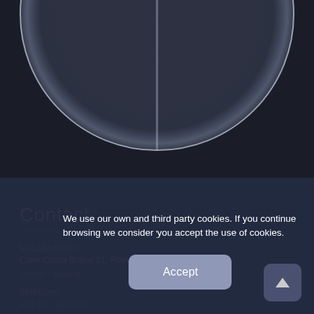[Figure (illustration): Dark background decorative graphic showing the top half of a circle with a vertical line through the center, glowing white/light blue outline on dark navy background]
Contact
Localización:
Calle Costa Brava 21. Planta 4.
28034 - Madrid
Teléfono:
+34 917 342 782
E-mail:
We use our own and third party cookies. If you continue browsing we consider you accept the use of cookies.